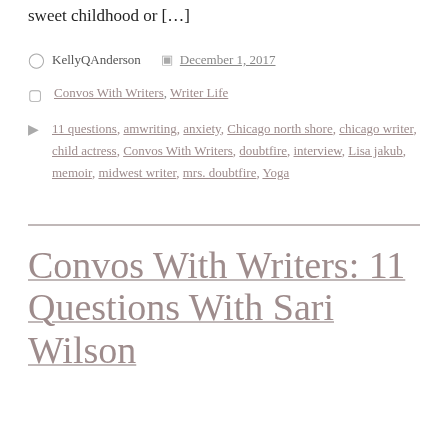sweet childhood or […]
KellyQAnderson   December 1, 2017
Convos With Writers, Writer Life
11 questions, amwriting, anxiety, Chicago north shore, chicago writer, child actress, Convos With Writers, doubtfire, interview, Lisa jakub, memoir, midwest writer, mrs. doubtfire, Yoga
Convos With Writers: 11 Questions With Sari Wilson